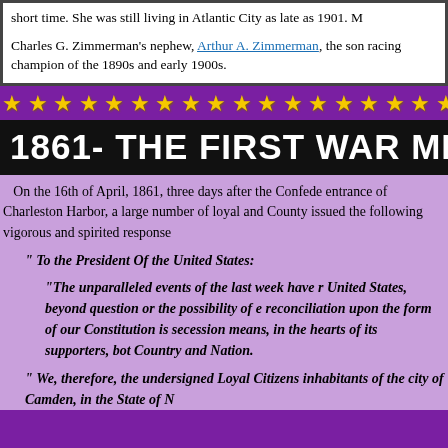short time. She was still living in Atlantic City as late as 1901. M...
Charles G. Zimmerman's nephew, Arthur A. Zimmerman, the son... racing champion of the 1890s and early 1900s.
[Figure (other): A horizontal bar of gold stars on a purple background]
1861- THE FIRST WAR MEE...
On the 16th of April, 1861, three days after the Confede... entrance of Charleston Harbor, a large number of loyal and... County issued the following vigorous and spirited response...
" To the President Of the United States:
"The unparalleled events of the last week have r... United States, beyond question or the possibility of... reconciliation upon the form of our Constitution is... secession means, in the hearts of its supporters, bot... Country and Nation.
" We, therefore, the undersigned Loyal Citizens... inhabitants of the city of Camden, in the State of N...